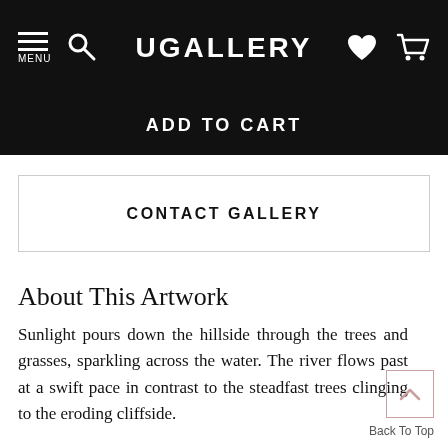UGALLERY
ADD TO CART
CONTACT GALLERY
About This Artwork
Sunlight pours down the hillside through the trees and grasses, sparkling across the water. The river flows past at a swift pace in contrast to the steadfast trees clinging to the eroding cliffside.
Back To Top